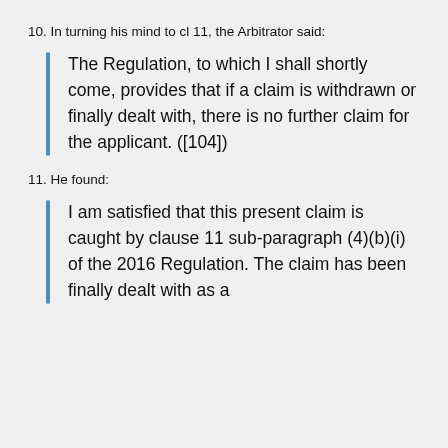10. In turning his mind to cl 11, the Arbitrator said:
The Regulation, to which I shall shortly come, provides that if a claim is withdrawn or finally dealt with, there is no further claim for the applicant. ([104])
11. He found:
I am satisfied that this present claim is caught by clause 11 sub-paragraph (4)(b)(i) of the 2016 Regulation. The claim has been finally dealt with as a